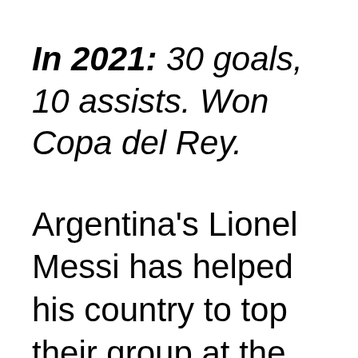In 2021: 30 goals, 10 assists. Won Copa del Rey.
Argentina's Lionel Messi has helped his country to top their group at the